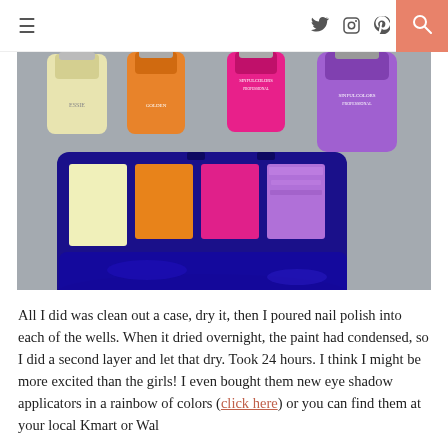Menu / Twitter / Instagram / Pinterest / Search
[Figure (photo): Nail polish bottles (yellow, orange, hot pink, purple) lined up on a grey carpet behind a dark blue makeup palette case with solidified nail polish filling four compartments in yellow, orange, hot pink, and purple colors.]
All I did was clean out a case, dry it, then I poured nail polish into each of the wells. When it dried overnight, the paint had condensed, so I did a second layer and let that dry. Took 24 hours. I think I might be more excited than the girls! I even bought them new eye shadow applicators in a rainbow of colors (click here) or you can find them at your local Kmart or Wal